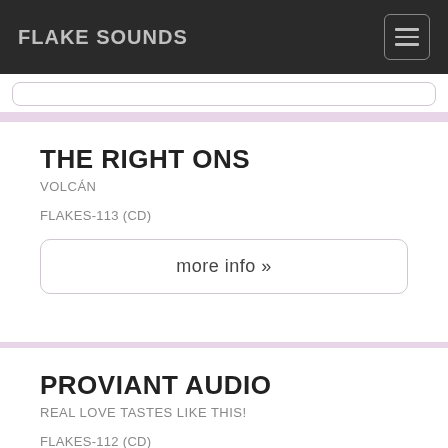FLAKE SOUNDS
THE RIGHT ONS
VOLCÁN
FLAKES-113 (CD)
more info »
PROVIANT AUDIO
REAL LOVE TASTES LIKE THIS!
FLAKES-112 (CD)
more info »